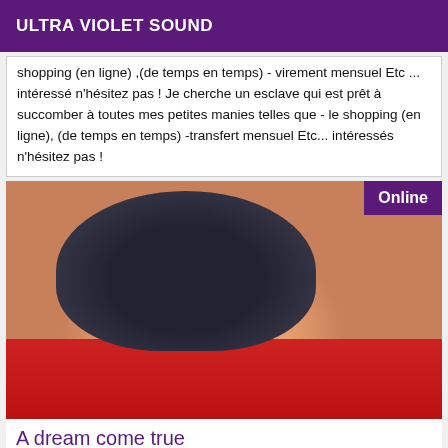ULTRA VIOLET SOUND
shopping (en ligne) ,(de temps en temps) - virement mensuel Etc ... intéressé n'hésitez pas ! Je cherche un esclave qui est prêt à succomber à toutes mes petites manies telles que - le shopping (en ligne), (de temps en temps) -transfert mensuel Etc... intéressés n'hésitez pas !
[Figure (photo): Close-up photo with Online badge in top-right corner, purple background badge with white text.]
A dream come true